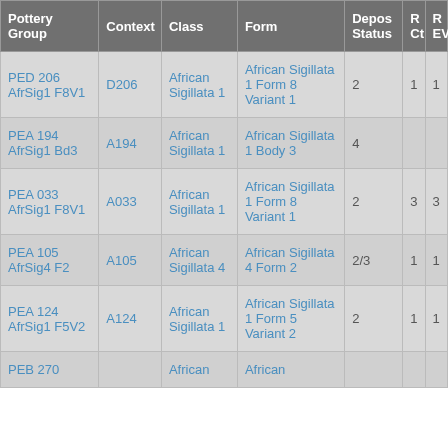| Pottery Group | Context | Class | Form | Depos Status | R Ct | R EV |
| --- | --- | --- | --- | --- | --- | --- |
| PED 206 AfrSig1 F8V1 | D206 | African Sigillata 1 | African Sigillata 1 Form 8 Variant 1 | 2 | 1 | 1 |
| PEA 194 AfrSig1 Bd3 | A194 | African Sigillata 1 | African Sigillata 1 Body 3 | 4 |  |  |
| PEA 033 AfrSig1 F8V1 | A033 | African Sigillata 1 | African Sigillata 1 Form 8 Variant 1 | 2 | 3 | 3 |
| PEA 105 AfrSig4 F2 | A105 | African Sigillata 4 | African Sigillata 4 Form 2 | 2/3 | 1 | 1 |
| PEA 124 AfrSig1 F5V2 | A124 | African Sigillata 1 | African Sigillata 1 Form 5 Variant 2 | 2 | 1 | 1 |
| PEB 270 |  | African | African |  |  |  |